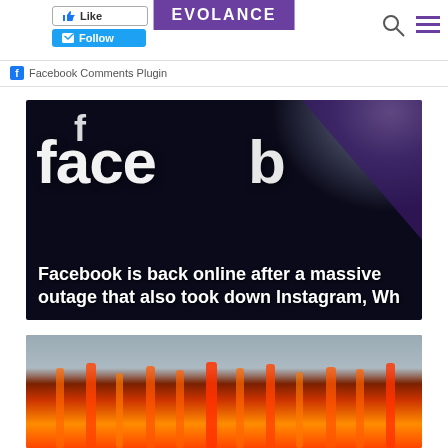EVOLANCE
Facebook Comments Plugin
[Figure (photo): Dark background with large white 'facebook' logo text and spotlight lighting, with overlay text: Facebook is back online after a massive outage that also took down Instagram, Wh]
[Figure (photo): Wildfire or volcanic eruption image showing orange and red flames against a smoky sky]